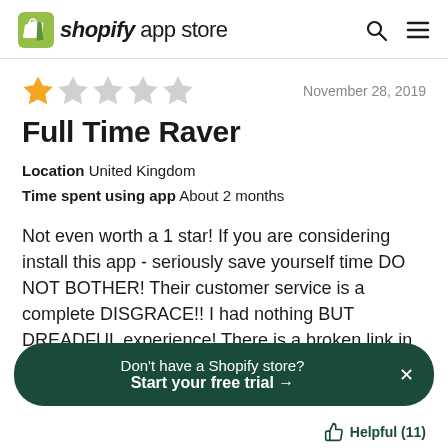shopify app store
[Figure (other): 1 out of 5 stars rating — one filled gold star and four empty grey stars]
November 28, 2019
Full Time Raver
Location   United Kingdom
Time spent using app   About 2 months
Not even worth a 1 star! If you are considering install this app - seriously save yourself time DO NOT BOTHER! Their customer service is a complete DISGRACE!! I had nothing BUT DREADFUL experience! There is a broken link in their product recommendation appears RIGHT...
Don't have a Shopify store?
Start your free trial →
Helpful (11)